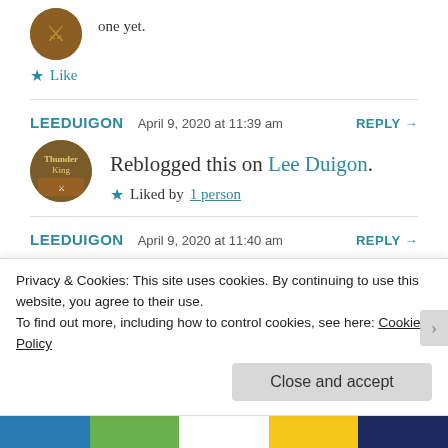one yet.
★ Like
LEEDUIGON   April 9, 2020 at 11:39 am   REPLY →
Reblogged this on Lee Duigon.
★ Liked by 1 person
LEEDUIGON   April 9, 2020 at 11:40 am   REPLY →
Privacy & Cookies: This site uses cookies. By continuing to use this website, you agree to their use.
To find out more, including how to control cookies, see here: Cookie Policy
Close and accept